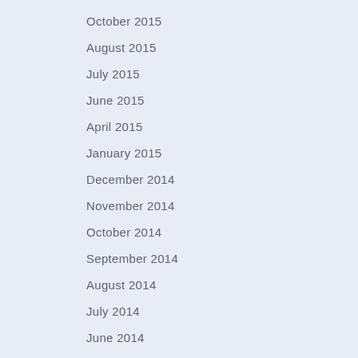October 2015
August 2015
July 2015
June 2015
April 2015
January 2015
December 2014
November 2014
October 2014
September 2014
August 2014
July 2014
June 2014
May 2014